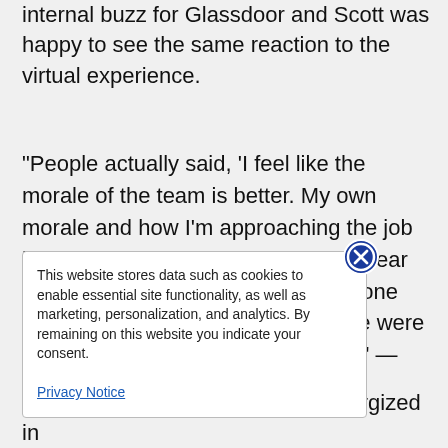internal buzz for Glassdoor and Scott was happy to see the same reaction to the virtual experience.
"People actually said, 'I feel like the morale of the team is better. My own morale and how I'm approaching the job has improved.' It was really nice to hear that employees appreciated we'd gone above and beyond to make sure we were impacting morale in a positive way." — Scott Schwartz, Senior
dback Scott received felt more energized in
This website stores data such as cookies to enable essential site functionality, as well as marketing, personalization, and analytics. By remaining on this website you indicate your consent. Privacy Notice